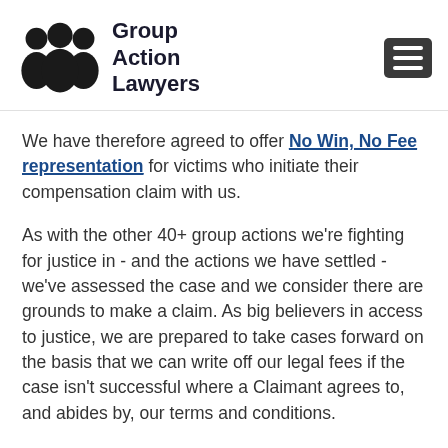Group Action Lawyers
We have therefore agreed to offer No Win, No Fee representation for victims who initiate their compensation claim with us.
As with the other 40+ group actions we're fighting for justice in - and the actions we have settled - we've assessed the case and we consider there are grounds to make a claim. As big believers in access to justice, we are prepared to take cases forward on the basis that we can write off our legal fees if the case isn't successful where a Claimant agrees to, and abides by, our terms and conditions.